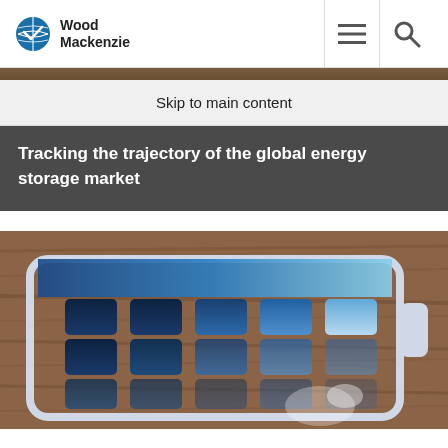Wood Mackenzie
Skip to main content
Tracking the trajectory of the global energy storage market
[Figure (photo): A battery icon graphic on a wooden surface background, showing battery cells arranged like solar panels with blue sky reflections, representing energy storage. The battery charge indicator shows increasing charge from dark (empty) to light blue (full).]